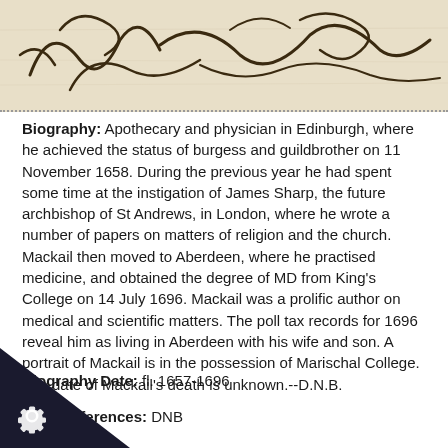[Figure (photo): Cropped image of historical handwritten manuscript on aged parchment background]
Biography: Apothecary and physician in Edinburgh, where he achieved the status of burgess and guildbrother on 11 November 1658. During the previous year he had spent some time at the instigation of James Sharp, the future archbishop of St Andrews, in London, where he wrote a number of papers on matters of religion and the church. Mackail then moved to Aberdeen, where he practised medicine, and obtained the degree of MD from King's College on 14 July 1696. Mackail was a prolific author on medical and scientific matters. The poll tax records for 1696 reveal him as living in Aberdeen with his wife and son. A portrait of Mackail is in the possession of Marischal College. The date of Mackail's death is unknown.--D.N.B.
Biography Date: fl. 1657-1696
Biography References: DNB